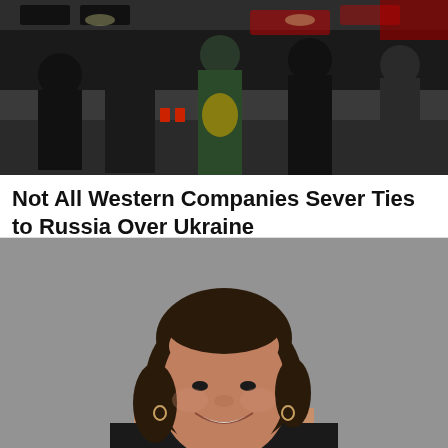[Figure (photo): Dark interior scene showing people in line at what appears to be a fast food restaurant counter, with menu boards visible in the background.]
Not All Western Companies Sever Ties to Russia Over Ukraine
A shrinking number of well-known companies are still doing business in Russia, even as hundreds have announced plan…
oklahoma.statenews
[Figure (photo): Portrait photo of a smiling woman with curly dark hair pulled back, wearing small hoop earrings, against a gray background.]